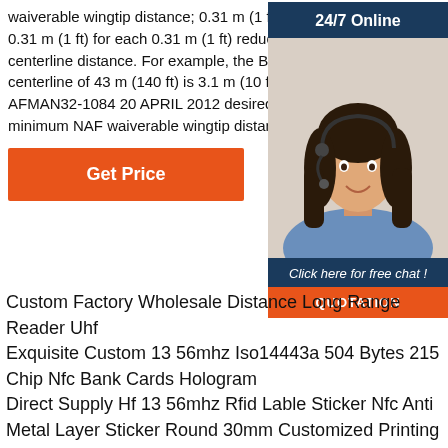waiverable wingtip distance; 0.31 m (1 ft) must be increased by 0.31 m (1 ft) for each 0.31 m (1 ft) reduction in nose-to-taxiway centerline distance. For example, the B-52 nose-to-taxiway centerline of 43 m (140 ft) is 3.1 m (10 ft) below the 42 AFMAN32-1084 20 APRIL 2012 desired distance; therefore, the minimum NAF waiverable wingtip distance is
[Figure (infographic): Customer support widget showing '24/7 Online' header, photo of smiling woman with headset, 'Click here for free chat!' text, and orange QUOTATION button]
Custom Factory Wholesale Distance Long Range Reader Uhf
Exquisite Custom 13 56mhz Iso14443a 504 Bytes 215 Chip Nfc Bank Cards Hologram
Direct Supply Hf 13 56mhz Rfid Lable Sticker Nfc Anti Metal Layer Sticker Round 30mm Customized Printing Blank
After-Sale Warranty Shenzhen Factory High Quality